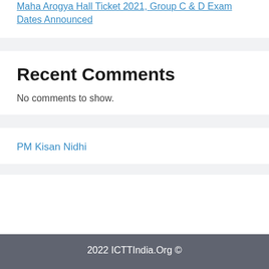Maha Arogya Hall Ticket 2021, Group C & D Exam Dates Announced
Recent Comments
No comments to show.
PM Kisan Nidhi
2022 ICTTIndia.Org ©